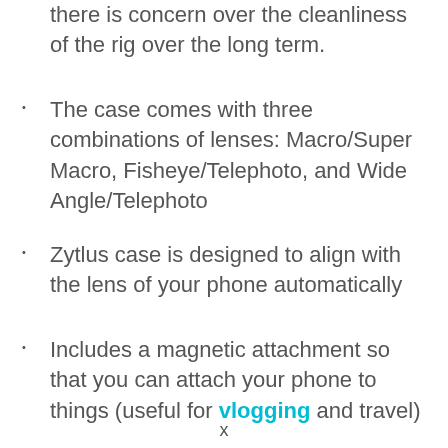there is concern over the cleanliness of the rig over the long term.
The case comes with three combinations of lenses: Macro/Super Macro, Fisheye/Telephoto, and Wide Angle/Telephoto
Zytlus case is designed to align with the lens of your phone automatically
Includes a magnetic attachment so that you can attach your phone to things (useful for vlogging and travel)
x